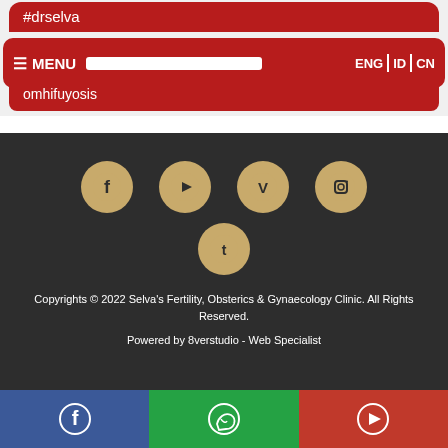#drselva
≡ MENU  ENG | ID | CN
omhifuyosis
[Figure (screenshot): Social media icons row: Facebook, YouTube, Vimeo, Instagram in gold circles, and Twitter in gold circle below]
Copyrights © 2022 Selva's Fertility, Obsterics & Gynaecology Clinic. All Rights Reserved.
Powered by 8verstudio - Web Specialist
[Figure (screenshot): Bottom navigation bar with Facebook (blue), WhatsApp (green), and YouTube (red) icons]